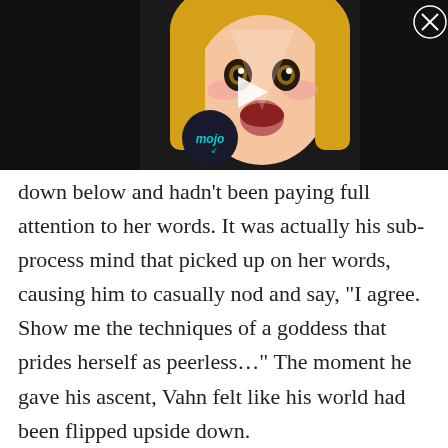[Figure (screenshot): Video thumbnail showing an anime character (blonde girl with wide eyes and open mouth, blushing) with a play button overlay and WatchMojo logo circle in the lower left. Black background. Close button (X in circle) in upper right corner.]
down below and hadn't been paying full attention to her words. It was actually his sub-process mind that picked up on her words, causing him to casually nod and say, “I agree. Show me the techniques of a goddess that prides herself as peerless…” The moment he gave his ascent, Vahn felt like his world had been flipped upside down.